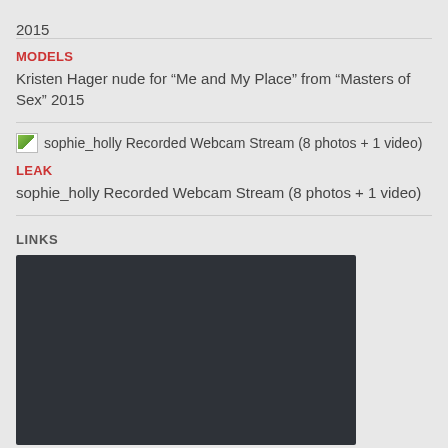2015
MODELS
Kristen Hager nude for “Me and My Place” from “Masters of Sex” 2015
[Figure (other): Broken thumbnail image icon for sophie_holly Recorded Webcam Stream (8 photos + 1 video)]
LEAK
sophie_holly Recorded Webcam Stream (8 photos + 1 video)
LINKS
[Figure (screenshot): Dark/black embedded media player or video embed area]